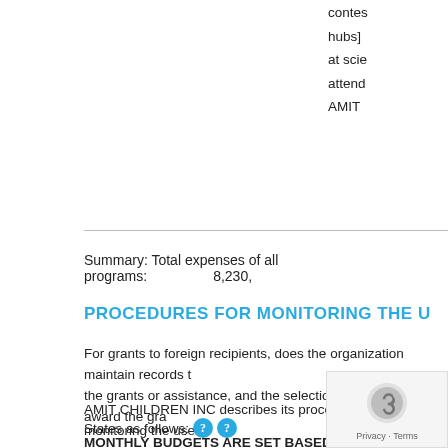contes hubs] at scie attend AMIT
Summary: Total expenses of all programs: 8,230,
PROCEDURES FOR MONITORING THE U
For grants to foreign recipients, does the organization maintain records t the grants or assistance, and the selection criteria used to award the gra
AMIT CHILDREN INC describes its procedures for monitoring the use o
States as follows:
MONTHLY BUDGETS ARE SET BASED UPON ANNUAL PROGRAMM REQUESTS AND SPECIFIC NEEDS FOR SCHOOLS IN IS INDEPENDENT PUBLIC ACCOUNTING FIRM WHICH INC